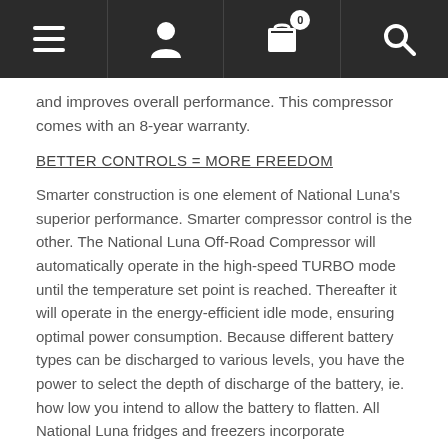[Figure (screenshot): Mobile app navigation bar with hamburger menu, user profile icon, shopping cart with badge showing 0, and search icon on dark background]
and improves overall performance. This compressor comes with an 8-year warranty.
BETTER CONTROLS = MORE FREEDOM
Smarter construction is one element of National Luna’s superior performance. Smarter compressor control is the other. The National Luna Off-Road Compressor will automatically operate in the high-speed TURBO mode until the temperature set point is reached. Thereafter it will operate in the energy-efficient idle mode, ensuring optimal power consumption. Because different battery types can be discharged to various levels, you have the power to select the depth of discharge of the battery, ie. how low you intend to allow the battery to flatten. All National Luna fridges and freezers incorporate Low/Medium/High battery cut-out protection circuitry.